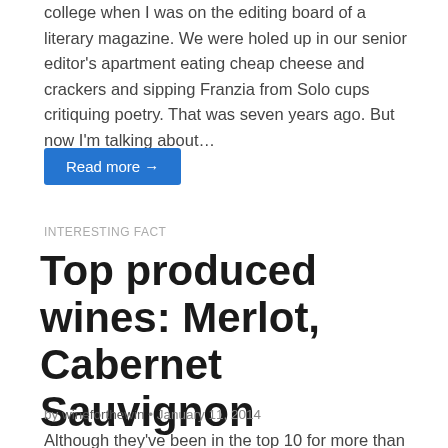college when I was on the editing board of a literary magazine. We were holed up in our senior editor's apartment eating cheap cheese and crackers and sipping Franzia from Solo cups critiquing poetry. That was seven years ago. But now I'm talking about…
Read more →
INTERESTING FACT
Top produced wines: Merlot, Cabernet Sauvignon
by wineforthewin • January 11, 2014
Although they've been in the top 10 for more than two